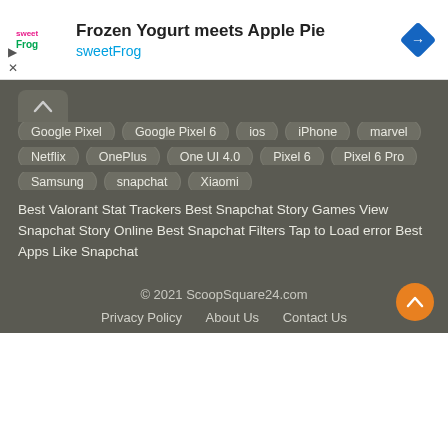[Figure (infographic): Advertisement banner for sweetFrog: logo on left, title 'Frozen Yogurt meets Apple Pie', subtitle 'sweetFrog' in blue, diamond-shaped navigation icon on right]
Google Pixel
Google Pixel 6
ios
iPhone
marvel
Netflix
OnePlus
One UI 4.0
Pixel 6
Pixel 6 Pro
Samsung
snapchat
Xiaomi
Best Valorant Stat Trackers Best Snapchat Story Games View Snapchat Story Online Best Snapchat Filters Tap to Load error Best Apps Like Snapchat
© 2021 ScoopSquare24.com
Privacy Policy   About Us   Contact Us